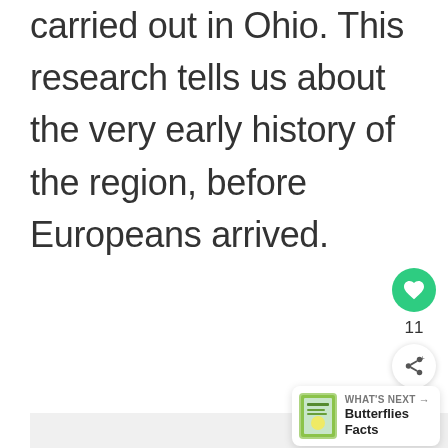carried out in Ohio. This research tells us about the very early history of the region, before Europeans arrived.
[Figure (other): Like button (green circle with heart icon), count of 11, and share button below]
[Figure (other): What's Next panel showing Butterflies Facts with book thumbnail]